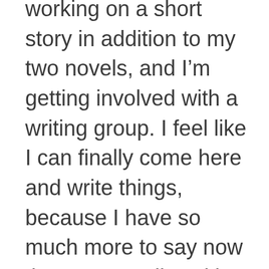working on a short story in addition to my two novels, and I'm getting involved with a writing group. I feel like I can finally come here and write things, because I have so much more to say now that I'm actually writing again. It's like dusty gears inside me are moving once again, the machinery is warming up and coming back to life, and I am loving it.